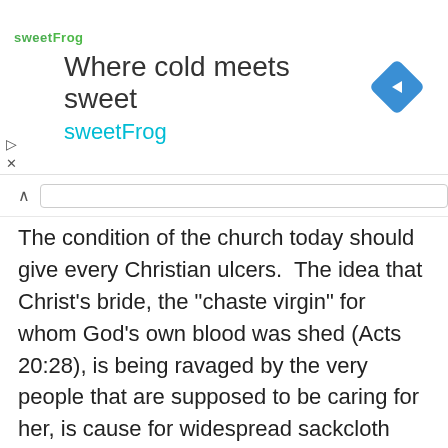[Figure (infographic): SweetFrog frozen yogurt advertisement banner: logo text 'sweetFrog' in green/teal, tagline 'Where cold meets sweet' in gray, brand name 'sweetFrog' in teal, and a blue diamond navigation icon on the right.]
The condition of the church today should give every Christian ulcers. The idea that Christ's bride, the “chaste virgin” for whom God’s own blood was shed (Acts 20:28), is being ravaged by the very people that are supposed to be caring for her, is cause for widespread sackcloth and ashes and indefinite periods of fasting and mourning. Yet, people who claim to be indwelt by the Holy Spirit of God go about their liturgical procedures nonchalantly, as if the very representation of Jesus Christ on this earth were not the absolute laughingstock of the entire world.